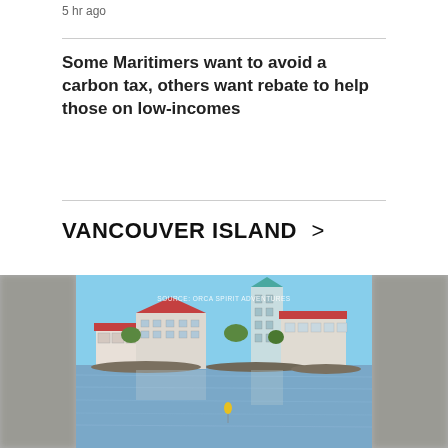5 hr ago
Some Maritimers want to avoid a carbon tax, others want rebate to help those on low-incomes
VANCOUVER ISLAND >
[Figure (photo): Waterfront buildings with red roofs and a turquoise tower, reflected in calm water. Source: Orca Spirit Adventures. Blurred grey edges on left and right sides of the photo.]